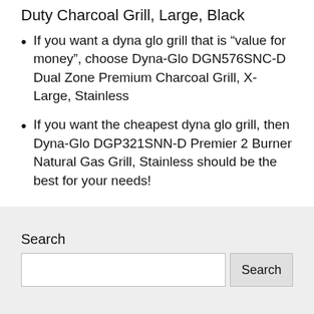Duty Charcoal Grill, Large, Black
If you want a dyna glo grill that is “value for money”, choose Dyna-Glo DGN576SNC-D Dual Zone Premium Charcoal Grill, X-Large, Stainless
If you want the cheapest dyna glo grill, then Dyna-Glo DGP321SNN-D Premier 2 Burner Natural Gas Grill, Stainless should be the best for your needs!
Search